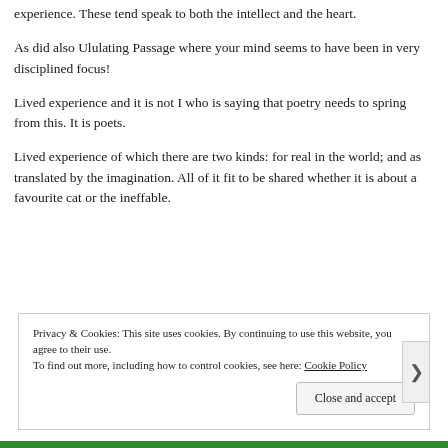experience. These tend speak to both the intellect and the heart.
As did also Ululating Passage where your mind seems to have been in very disciplined focus!
Lived experience and it is not I who is saying that poetry needs to spring from this. It is poets.
Lived experience of which there are two kinds: for real in the world; and as translated by the imagination. All of it fit to be shared whether it is about a favourite cat or the ineffable.
Privacy & Cookies: This site uses cookies. By continuing to use this website, you agree to their use. To find out more, including how to control cookies, see here: Cookie Policy
Close and accept